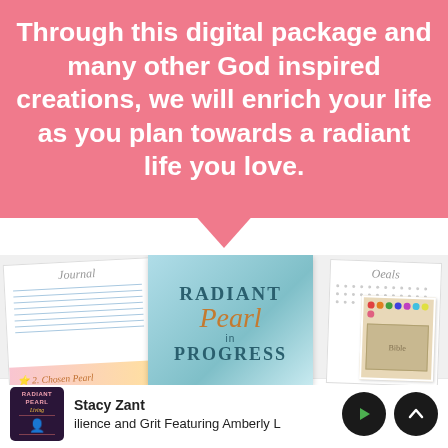Through this digital package and many other God inspired creations, we will enrich your life as you plan towards a radiant life you love.
[Figure (photo): Product mockup showing journal, Radiant Pearl in Progress book cover, dotted notebook, and a Bible journaling photo]
Stacy Zant
ilience and Grit Featuring Amberly L